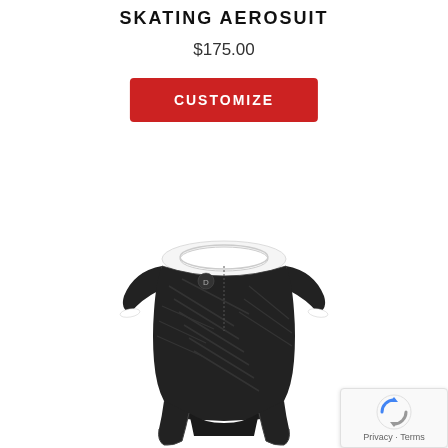SKATING AEROSUIT
$175.00
CUSTOMIZE
[Figure (photo): A black skating aerosuit/speedsuit with short sleeves and shorts cut, featuring a textured diagonal pattern, white collar neckline, and a small logo on the chest.]
[Figure (logo): reCAPTCHA badge with spinning arrows icon and Privacy - Terms text]